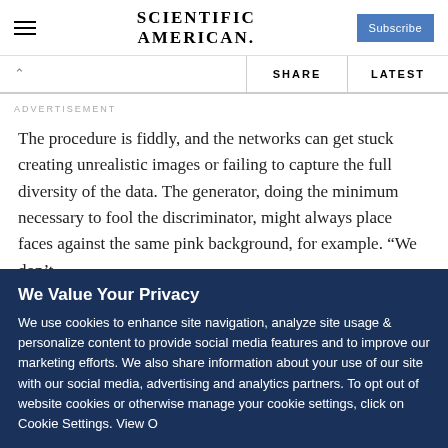SCIENTIFIC AMERICAN
ADVERTISEMENT
The procedure is fiddly, and the networks can get stuck creating unrealistic images or failing to capture the full diversity of the data. The generator, doing the minimum necessary to fool the discriminator, might always place faces against the same pink background, for example. “We don’t
We Value Your Privacy
We use cookies to enhance site navigation, analyze site usage & personalize content to provide social media features and to improve our marketing efforts. We also share information about your use of our site with our social media, advertising and analytics partners. To opt out of website cookies or otherwise manage your cookie settings, click on Cookie Settings. View Our